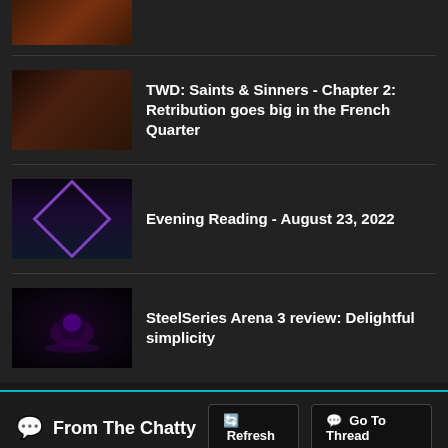TWD: Saints & Sinners - Chapter 2: Retribution goes big in the French Quarter
Evening Reading - August 23, 2022
SteelSeries Arena 3 review: Delightful simplicity
From The Chatty
Shacknews ↑ 😐 David Craddock posted a new article, Opinion...
ashkie ↑ 😐 ⚡ I still disagree with your opinion. The... [Inf×5]